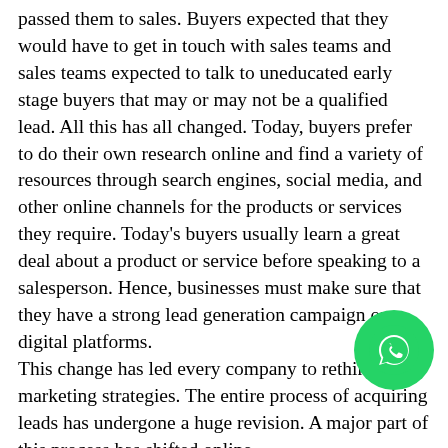passed them to sales. Buyers expected that they would have to get in touch with sales teams and sales teams expected to talk to uneducated early stage buyers that may or may not be a qualified lead. All this has all changed. Today, buyers prefer to do their own research online and find a variety of resources through search engines, social media, and other online channels for the products or services they require. Today's buyers usually learn a great deal about a product or service before speaking to a salesperson. Hence, businesses must make sure that they have a strong lead generation campaign on digital platforms.
This change has led every company to rethink their marketing strategies. The entire process of acquiring leads has undergone a huge revision. A major part of this process has shifted online.
The companies which have been unable to adapt to this transformation, have been struggling to attract potential consumers. This situation is bound to get bleaker as we to find out innovative ways to keep generating leads for our business.
Volkswagen realised this and planned to streamline its marketing operations to become 30 percent more
[Figure (logo): WhatsApp circular green icon overlay in the lower right area of the page]